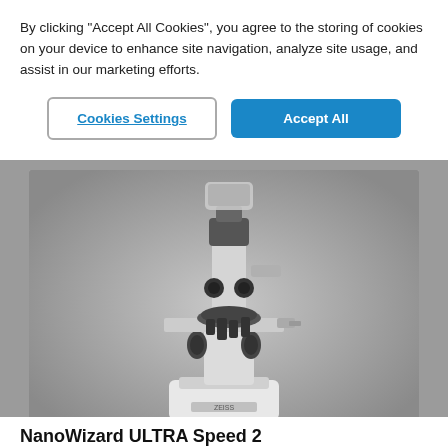By clicking "Accept All Cookies", you agree to the storing of cookies on your device to enhance site navigation, analyze site usage, and assist in our marketing efforts.
Cookies Settings
Accept All
[Figure (photo): Photo of a ZEISS NanoWizard ULTRA Speed 2 AFM microscope system mounted on an inverted optical microscope, shown against a gray background.]
NanoWizard ULTRA Speed 2